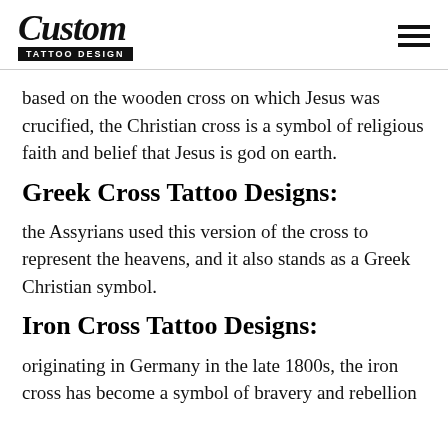Custom Tattoo Design
based on the wooden cross on which Jesus was crucified, the Christian cross is a symbol of religious faith and belief that Jesus is god on earth.
Greek Cross Tattoo Designs:
the Assyrians used this version of the cross to represent the heavens, and it also stands as a Greek Christian symbol.
Iron Cross Tattoo Designs:
originating in Germany in the late 1800s, the iron cross has become a symbol of bravery and rebellion